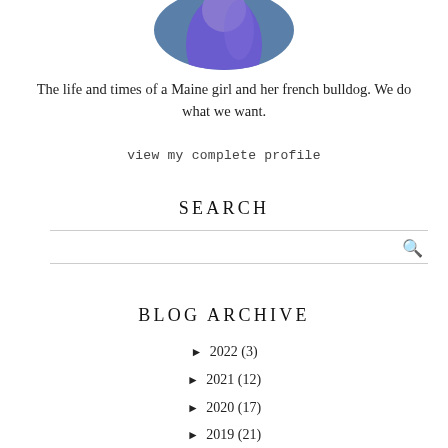[Figure (photo): Circular profile photo of a person in a purple/blue outfit against a blue background, cropped at the top of the page]
The life and times of a Maine girl and her french bulldog. We do what we want.
view my complete profile
SEARCH
BLOG ARCHIVE
► 2022 (3)
► 2021 (12)
► 2020 (17)
► 2019 (21)